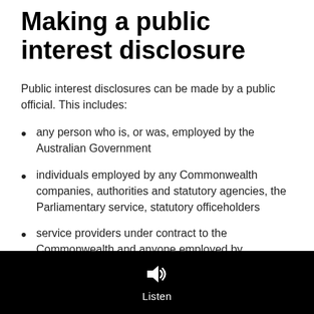Making a public interest disclosure
Public interest disclosures can be made by a public official. This includes:
any person who is, or was, employed by the Australian Government
individuals employed by any Commonwealth companies, authorities and statutory agencies, the Parliamentary service, statutory officeholders
service providers under contract to the Commonwealth and anyone employed by
[Figure (other): Listen button with speaker icon on black background bar at bottom of page]